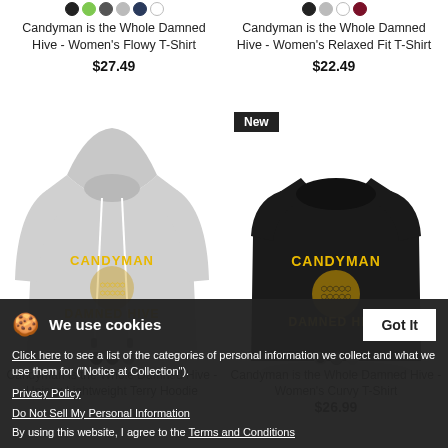[Figure (photo): Color swatches for Candyman is the Whole Damned Hive Women's Flowy T-Shirt: black, green, dark gray, light gray, navy, white]
Candyman is the Whole Damned Hive - Women's Flowy T-Shirt
$27.49
[Figure (photo): Color swatches for Candyman is the Whole Damned Hive Women's Relaxed Fit T-Shirt: black, light gray, white, maroon]
Candyman is the Whole Damned Hive - Women's Relaxed Fit T-Shirt
$22.49
[Figure (photo): Gray hoodie with CANDYMAN DAMNED HIVE text and honeycomb graphic in yellow]
[Figure (photo): Black women's t-shirt with CANDYMAN DAMNED HIVE text and honeycomb graphic in yellow. New badge shown.]
Candyman is the Whole Damned Hive - Unisex Lightweight Terry Hoodie
Candyman is the Whole Damned Hive - Women's Curvy T-Shirt
$26.99
We use cookies
Click here to see a list of the categories of personal information we collect and what we use them for ("Notice at Collection").
Privacy Policy
Do Not Sell My Personal Information
By using this website, I agree to the Terms and Conditions